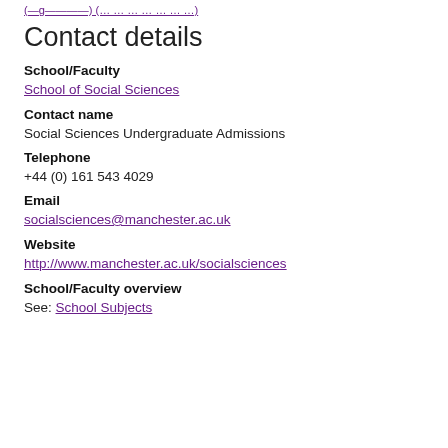(link text truncated at top)
Contact details
School/Faculty
School of Social Sciences
Contact name
Social Sciences Undergraduate Admissions
Telephone
+44 (0) 161 543 4029
Email
socialsciences@manchester.ac.uk
Website
http://www.manchester.ac.uk/socialsciences
School/Faculty overview
See: School Subjects